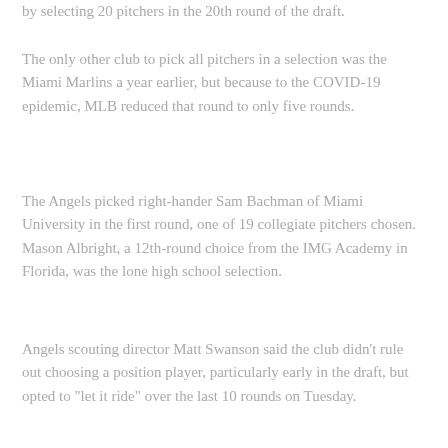by selecting 20 pitchers in the 20th round of the draft.
The only other club to pick all pitchers in a selection was the Miami Marlins a year earlier, but because to the COVID-19 epidemic, MLB reduced that round to only five rounds.
The Angels picked right-hander Sam Bachman of Miami University in the first round, one of 19 collegiate pitchers chosen. Mason Albright, a 12th-round choice from the IMG Academy in Florida, was the lone high school selection.
Angels scouting director Matt Swanson said the club didn't rule out choosing a position player, particularly early in the draft, but opted to "let it ride" over the last 10 rounds on Tuesday.